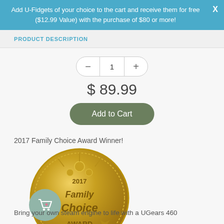Add U-Fidgets of your choice to the cart and receive them for free ($12.99 Value) with the purchase of $80 or more!
PRODUCT DESCRIPTION
1
$ 89.99
Add to Cart
2017 Family Choice Award Winner!
[Figure (illustration): Gold coin medal with '2017 Family Choice Award' text and decorative figures]
Bring your own steam engine to life with a UGears 460